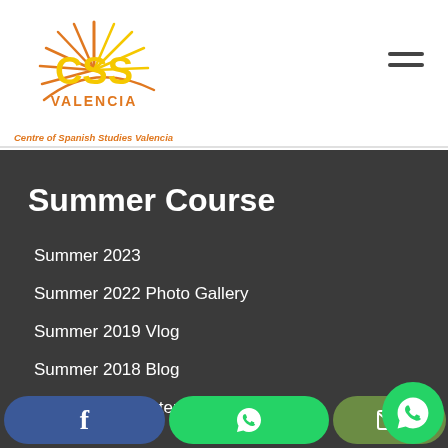[Figure (logo): CSS Valencia sun logo with yellow CSS text and orange VALENCIA text, with radiating orange and yellow lines forming a sun]
Centre of Spanish Studies Valencia
Summer Course
Summer 2023
Summer 2022 Photo Gallery
Summer 2019 Vlog
Summer 2018 Blog
Summer 2018 interviews